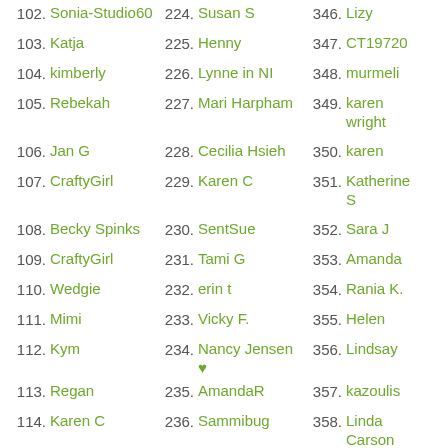102. Sonia-Studio60
103. Katja
104. kimberly
105. Rebekah
106. Jan G
107. CraftyGirl
108. Becky Spinks
109. CraftyGirl
110. Wedgie
111. Mimi
112. Kym
113. Regan
114. Karen C
115. Lisa Henke
116. Sue McRae
117. ...
224. Susan S
225. Henny
226. Lynne in NI
227. Mari Harpham
228. Cecilia Hsieh
229. Karen C
230. SentSue
231. Tami G
232. erin t
233. Vicky F.
234. Nancy Jensen ♥
235. AmandaR
236. Sammibug
237. Donna R
238. jengd
239. ...
346. Lizy
347. CT19720
348. murmeli
349. karen wright
350. karen
351. Katherine S
352. Sara J
353. Amanda
354. Rania K.
355. Helen
356. Lindsay
357. kazoulis
358. Linda Carson
359. Margo S.
360. Mary D
361. ...